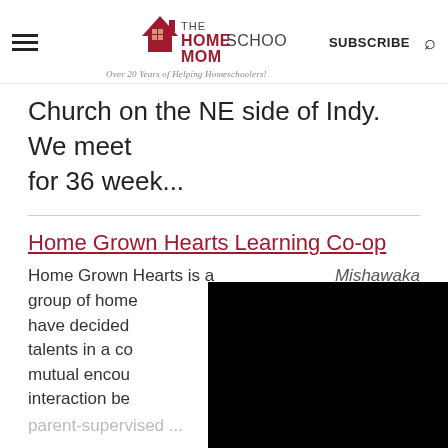THE HOMESCHOOL MOM — Over 20 Years of Helping Homeschoolers! | SUBSCRIBE
Church on the NE side of Indy. We meet for 36 week...
Home Grown Hearts Learning Co-op
Home Grown Hearts is a group of home[schoolers who] have decided [to share their] talents in a co[operative] mutual encou[ragement and] interaction be[tween families in a] parent-supervised ...
Mishawaka